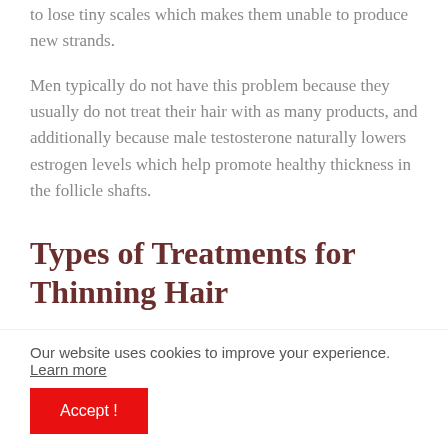to lose tiny scales which makes them unable to produce new strands.
Men typically do not have this problem because they usually do not treat their hair with as many products, and additionally because male testosterone naturally lowers estrogen levels which help promote healthy thickness in the follicle shafts.
Types of Treatments for Thinning Hair
Our website uses cookies to improve your experience. Learn more
Accept !